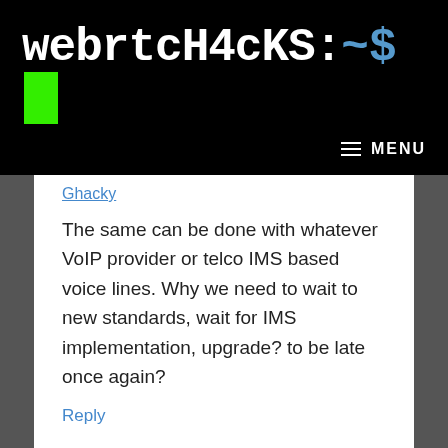webrtcH4cKS:~$ ▌
≡ MENU
Ghacky
The same can be done with whatever VoIP provider or telco IMS based voice lines. Why we need to wait to new standards, wait for IMS implementation, upgrade? to be late once again?
Reply